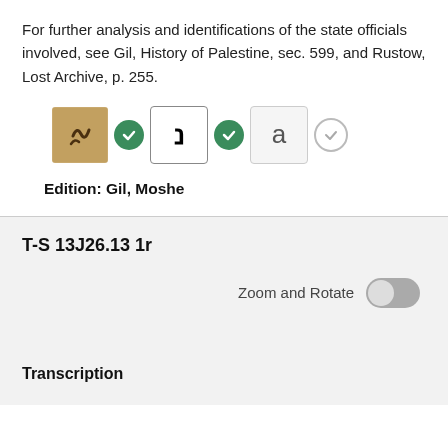For further analysis and identifications of the state officials involved, see Gil, History of Palestine, sec. 599, and Rustow, Lost Archive, p. 255.
[Figure (screenshot): Row of three document viewer icons: a manuscript image thumbnail with green checkmark, a Hebrew aleph character in a box with green checkmark, and a letter 'a' in a box with outline checkmark]
Edition: Gil, Moshe
T-S 13J26.13 1r
Zoom and Rotate
Transcription